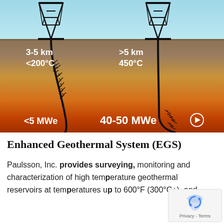[Figure (engineering-diagram): Illustration of Enhanced Geothermal System (EGS) showing two drilling rigs above ground. Left rig: 3-5 km depth, <200°C, <5 MWe with fractures. Right rig: >5 km depth, 450°C, 40-50 MWe. Underground layers shown transitioning from gray/brown near surface to orange/red at depth, representing increasing temperature.]
Enhanced Geothermal System (EGS)
Paulsson, Inc. provides surveying, monitoring and characterization of high temperature geothermal reservoirs at temperatures up to 600°F (300°C+), and